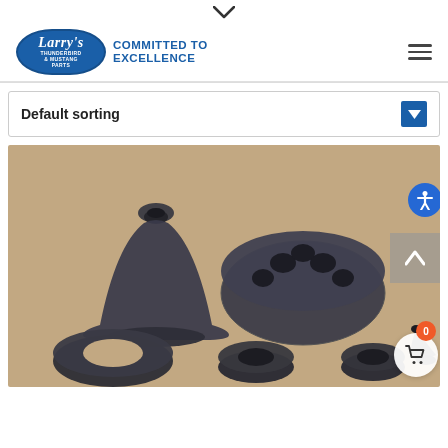Larry's Thunderbird & Mustang Parts — COMMITTED TO EXCELLENCE
Default sorting
[Figure (photo): Collection of black rubber automotive parts including conical boot, circular multi-hole grommet, flat washer ring, cylindrical grommets, and small cone-shaped piece, photographed on a beige/tan surface.]